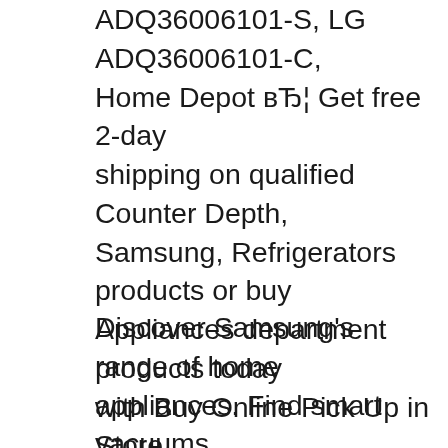ADQ36006101-S, LG ADQ36006101-C, Home Depot в¦ Get free 2-day shipping on qualified Counter Depth, Samsung, Refrigerators products or buy Appliances department products today with Buy Online Pick Up in Store. Samsung - Counter Depth - Refrigerators - Appliances - The Home Depot
Discover Samsung's range of home appliances. Find smart vacuums, kitchen and laundry appliances to suit your needs. Order online now. 2-Pack Replacement LT700P Water Filter for LG, Kenmore, Sears Refrigerators - Compatible with LG LT700P, LG ADQ36006101, LG ADQ36006101-S, LG ADQ36006101-C, LG ADQ36006101-S